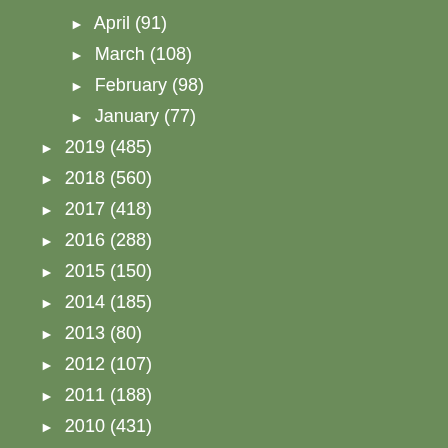► April (91)
► March (108)
► February (98)
► January (77)
► 2019 (485)
► 2018 (560)
► 2017 (418)
► 2016 (288)
► 2015 (150)
► 2014 (185)
► 2013 (80)
► 2012 (107)
► 2011 (188)
► 2010 (431)
► 2009 (314)
► 2008 (148)
TOP POSTS IN PAST YEAR